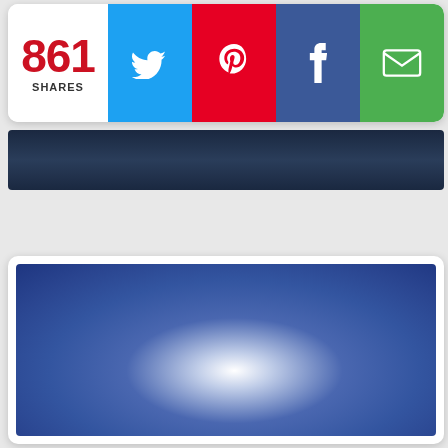[Figure (screenshot): Social share bar showing 861 SHARES with Twitter (blue), Pinterest (red), Facebook (dark blue), and Email (green) buttons]
[Figure (photo): Blue gradient image with bright white glow in the lower-center area, resembling a sky or abstract background]